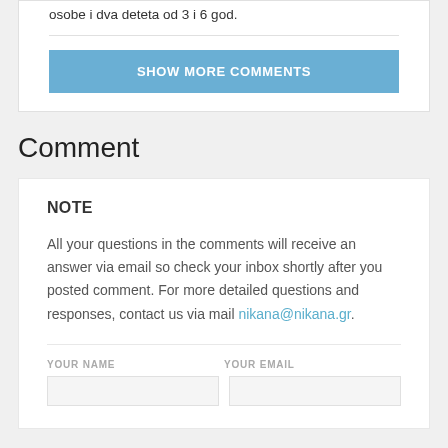osobe i dva deteta od 3 i 6 god.
SHOW MORE COMMENTS
Comment
NOTE
All your questions in the comments will receive an answer via email so check your inbox shortly after you posted comment. For more detailed questions and responses, contact us via mail nikana@nikana.gr.
YOUR NAME
YOUR EMAIL